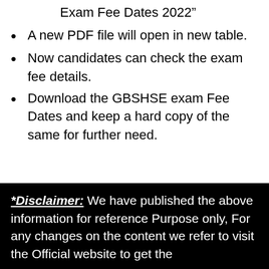Exam Fee Dates 2022"
A new PDF file will open in new table.
Now candidates can check the exam fee details.
Download the GBSHSE exam Fee Dates and keep a hard copy of the same for further need.
Download GBSHSE Exam Fee Dates 2021
*Disclaimer: We have published the above information for reference Purpose only, For any changes on the content we refer to visit the Official website to get the